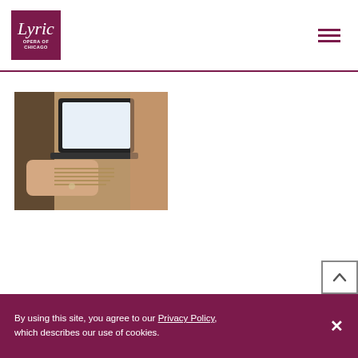[Figure (logo): Lyric Opera of Chicago logo — white italic 'Lyric' text and 'OPERA OF CHICAGO' in white caps on dark maroon/purple square background]
[Figure (other): Hamburger menu icon — three horizontal maroon lines]
[Figure (photo): Photo of hands holding sheet music next to an open laptop, partially visible, blurred warm background]
[Figure (other): Back-to-top button — square with upward chevron arrow, outlined in grey]
By using this site, you agree to our Privacy Policy, which describes our use of cookies.